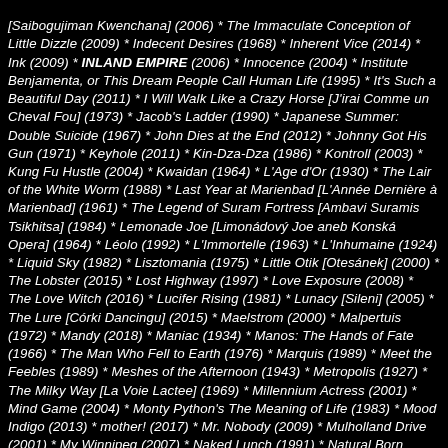[Saibogujiman Kwenchana] (2006) * The Immaculate Conception of Little Dizzle (2009) * Indecent Desires (1968) * Inherent Vice (2014) * Ink (2009) * INLAND EMPIRE (2006) * Innocence (2004) * Institute Benjamenta, or This Dream People Call Human Life (1995) * It's Such a Beautiful Day (2011) * I Will Walk Like a Crazy Horse [J'irai Comme un Cheval Fou] (1973) * Jacob's Ladder (1990) * Japanese Summer: Double Suicide (1967) * John Dies at the End (2012) * Johnny Got His Gun (1971) * Keyhole (2011) * Kin-Dza-Dza (1986) * Kontroll (2003) * Kung Fu Hustle (2004) * Kwaidan (1964) * L'Age d'Or (1930) * The Lair of the White Worm (1988) * Last Year at Marienbad [L'Année Dernière à Marienbad] (1961) * The Legend of Suram Fortress [Ambavi Suramis Tsikhitsa] (1984) * Lemonade Joe [Limonádový Joe aneb Konská Opera] (1964) * Léolo (1992) * L'Immortelle (1963) * L'Inhumaine (1924) * Liquid Sky (1982) * Lisztomania (1975) * Little Otik [Otesánek] (2000) * The Lobster (2015) * Lost Highway (1997) * Love Exposure (2008) * The Love Witch (2016) * Lucifer Rising (1981) * Lunacy [Sileni] (2005) * The Lure [Córki Dancingu] (2015) * Maelstrom (2000) * Malpertuis (1972) * Mandy (2018) * Maniac (1934) * Manos: The Hands of Fate (1966) * The Man Who Fell to Earth (1976) * Marquis (1989) * Meet the Feebles (1989) * Meshes of the Afternoon (1943) * Metropolis (1927) * The Milky Way [La Voie Lactee] (1969) * Millennium Actress (2001) * Mind Game (2004) * Monty Python's The Meaning of Life (1983) * Mood Indigo (2013) * mother! (2017) * Mr. Nobody (2009) * Mulholland Drive (2001) * My Winnipeg (2007) * Naked Lunch (1991) * Natural Born Killers (1994) * Neon Genesis Evangelion: The End of Evangelion (1997) * Never Give a Sucker an Even Break (1941) * Night of the Hunter (1955) *